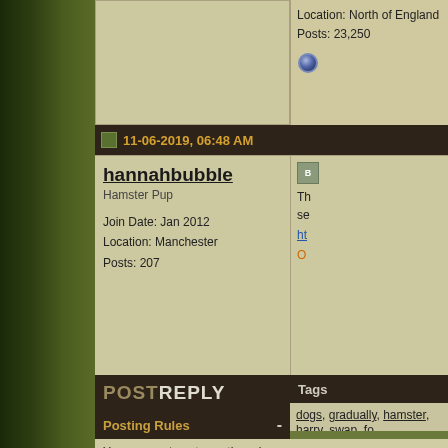Location: North of England
Posts: 23,250
11-06-2019, 06:48 AM
hannahbubble
Hamster Pup
Join Date: Jan 2012
Location: Manchester
Posts: 207
POST REPLY
Tags
dogs, gradually, hamster, harry, swap, fo...
Posting Rules
You may not post new threads
You may not post replies
You may not post attachments
You may not edit your posts